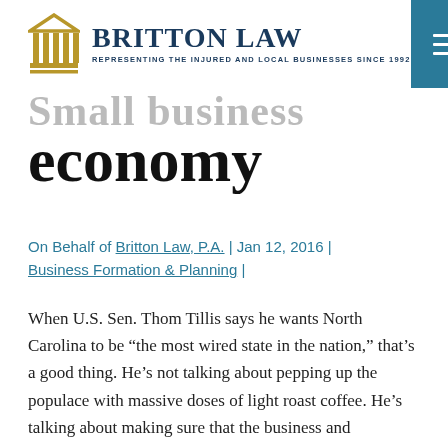BRITTON LAW — REPRESENTING THE INJURED AND LOCAL BUSINESSES SINCE 1992
economy
On Behalf of Britton Law, P.A. | Jan 12, 2016 | Business Formation & Planning |
When U.S. Sen. Thom Tillis says he wants North Carolina to be “the most wired state in the nation,” that’s a good thing. He’s not talking about pepping up the populace with massive doses of light roast coffee. He’s talking about making sure that the business and economic environment is robustly supported with electronic connectivity.